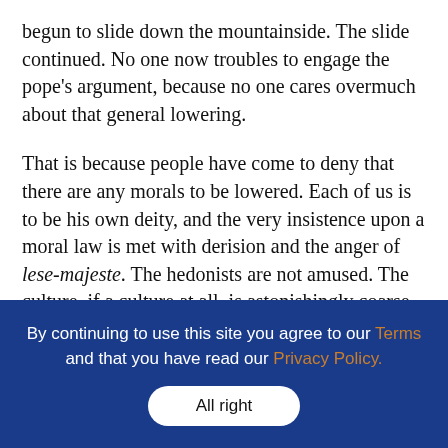begun to slide down the mountainside. The slide continued. No one now troubles to engage the pope's argument, because no one cares overmuch about that general lowering.
That is because people have come to deny that there are any morals to be lowered. Each of us is to be his own deity, and the very insistence upon a moral law is met with derision and the anger of lese-majeste. The hedonists are not amused. The culture, if a culture at all, is astonishingly coarse and vulgar, without any compensating sense of a true use of the sexual powers by way of chaste love. We are not only fallen into a nocturnal swamp but are fallen without any
By continuing to use this site you agree to our Terms and that you have read our Privacy Policy.
All right